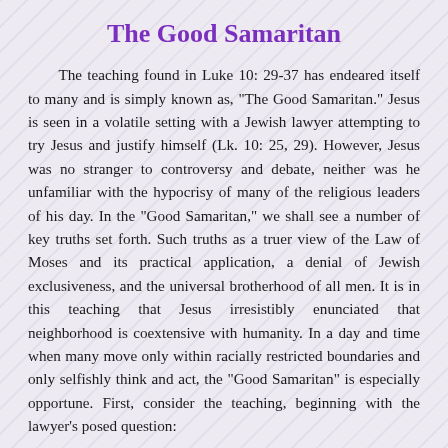The Good Samaritan
The teaching found in Luke 10: 29-37 has endeared itself to many and is simply known as, "The Good Samaritan." Jesus is seen in a volatile setting with a Jewish lawyer attempting to try Jesus and justify himself (Lk. 10: 25, 29). However, Jesus was no stranger to controversy and debate, neither was he unfamiliar with the hypocrisy of many of the religious leaders of his day. In the "Good Samaritan," we shall see a number of key truths set forth. Such truths as a truer view of the Law of Moses and its practical application, a denial of Jewish exclusiveness, and the universal brotherhood of all men. It is in this teaching that Jesus irresistibly enunciated that neighborhood is coextensive with humanity. In a day and time when many move only within racially restricted boundaries and only selfishly think and act, the "Good Samaritan" is especially opportune. First, consider the teaching, beginning with the lawyer's posed question: